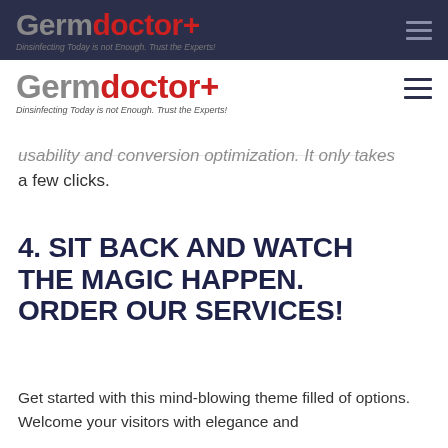Germdoctor+ | Dinsinfecting Today is not Enough. Trust the Experts!
usability and conversion optimization. It only takes a few clicks.
4. SIT BACK AND WATCH THE MAGIC HAPPEN. ORDER OUR SERVICES!
Get started with this mind-blowing theme filled of options. Welcome your visitors with elegance and